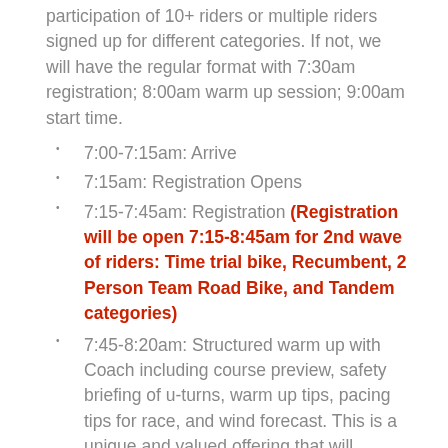participation of 10+ riders or multiple riders signed up for different categories. If not, we will have the regular format with 7:30am registration; 8:00am warm up session; 9:00am start time.
7:00-7:15am: Arrive
7:15am: Registration Opens
7:15-7:45am: Registration (Registration will be open 7:15-8:45am for 2nd wave of riders: Time trial bike, Recumbent, 2 Person Team Road Bike, and Tandem categories)
7:45-8:20am: Structured warm up with Coach including course preview, safety briefing of u-turns, warm up tips, pacing tips for race, and wind forecast. This is a unique and valued offering that will significantly help participants perform at their best and enjoy